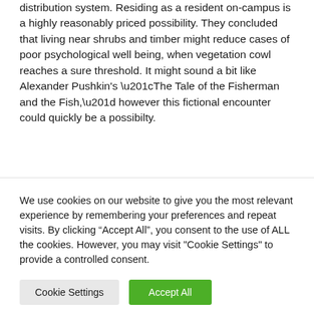distribution system. Residing as a resident on-campus is a highly reasonably priced possibility. They concluded that living near shrubs and timber might reduce cases of poor psychological well being, when vegetation cowl reaches a sure threshold. It might sound a bit like Alexander Pushkin's “The Tale of the Fisherman and the Fish,” however this fictional encounter could quickly be a possibilty.
We use cookies on our website to give you the most relevant experience by remembering your preferences and repeat visits. By clicking “Accept All”, you consent to the use of ALL the cookies. However, you may visit "Cookie Settings" to provide a controlled consent.